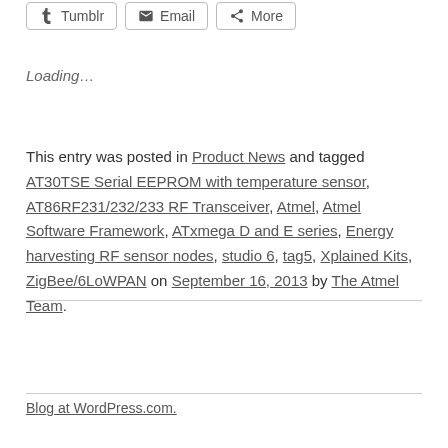Tumblr | Email | More (share buttons)
Loading...
This entry was posted in Product News and tagged AT30TSE Serial EEPROM with temperature sensor, AT86RF231/232/233 RF Transceiver, Atmel, Atmel Software Framework, ATxmega D and E series, Energy harvesting RF sensor nodes, studio 6, tag5, Xplained Kits, ZigBee/6LoWPAN on September 16, 2013 by The Atmel Team.
Blog at WordPress.com.